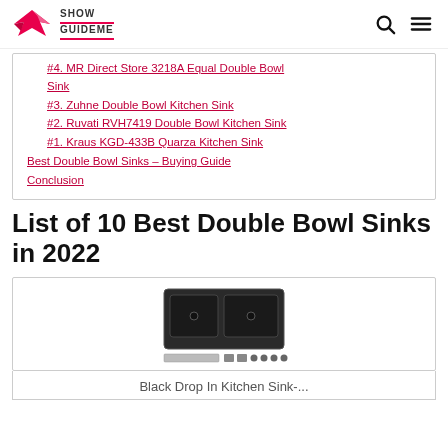ShowGuideMe
#4. MR Direct Store 3218A Equal Double Bowl Sink
#3. Zuhne Double Bowl Kitchen Sink
#2. Ruvati RVH7419 Double Bowl Kitchen Sink
#1. Kraus KGD-433B Quarza Kitchen Sink
Best Double Bowl Sinks – Buying Guide
Conclusion
List of 10 Best Double Bowl Sinks in 2022
[Figure (photo): Black drop-in double bowl kitchen sink product image with accessories]
Black Drop In Kitchen Sink-...